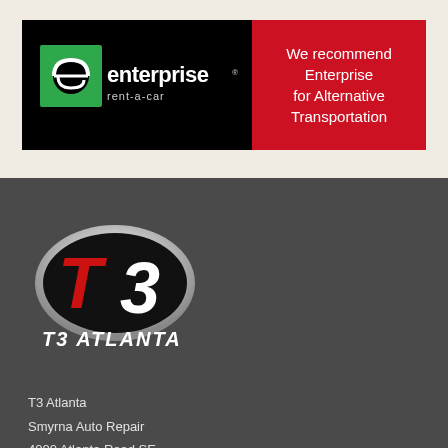[Figure (logo): Enterprise Rent-A-Car logo banner with black background on left showing enterprise logo and red background on right with text 'We recommend Enterprise for Alternative Transportation']
[Figure (logo): T3 Atlanta logo: black oval with red T and white 3, with italic white text 'T3 ATLANTA' below]
T3 Atlanta
Smyrna Auto Repair
4000 Atlanta Road SE,
Smyrna, GA 30080
Phone: (404) 794-7700